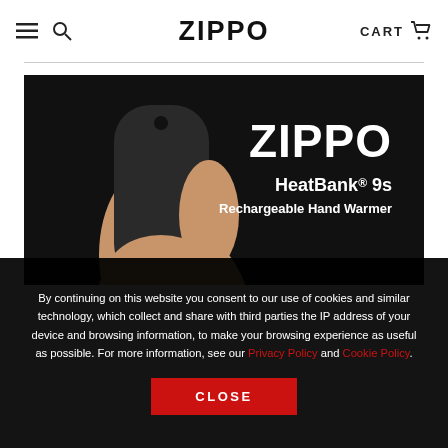ZIPPO | CART
[Figure (photo): Zippo HeatBank 9s Rechargeable Hand Warmer product photo on black background — a hand holding a dark rounded device, with ZIPPO logo and product name text on the right.]
By continuing on this website you consent to our use of cookies and similar technology, which collect and share with third parties the IP address of your device and browsing information, to make your browsing experience as useful as possible. For more information, see our Privacy Policy and Cookie Policy.
CLOSE